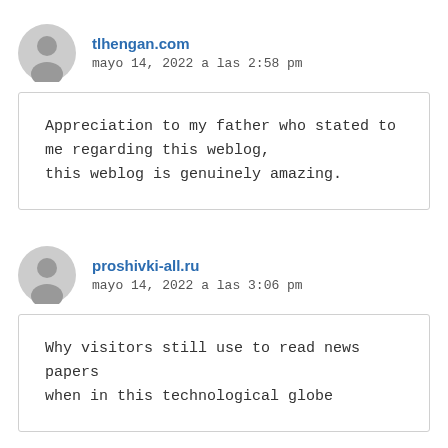tlhengan.com
mayo 14, 2022 a las 2:58 pm
Appreciation to my father who stated to me regarding this weblog, this weblog is genuinely amazing.
proshivki-all.ru
mayo 14, 2022 a las 3:06 pm
Why visitors still use to read news papers when in this technological globe